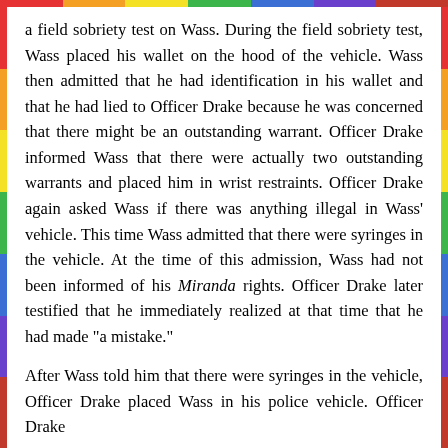a field sobriety test on Wass. During the field sobriety test, Wass placed his wallet on the hood of the vehicle. Wass then admitted that he had identification in his wallet and that he had lied to Officer Drake because he was concerned that there might be an outstanding warrant. Officer Drake informed Wass that there were actually two outstanding warrants and placed him in wrist restraints. Officer Drake again asked Wass if there was anything illegal in Wass' vehicle. This time Wass admitted that there were syringes in the vehicle. At the time of this admission, Wass had not been informed of his Miranda rights. Officer Drake later testified that he immediately realized at that time that he had made "a mistake."
After Wass told him that there were syringes in the vehicle, Officer Drake placed Wass in his police vehicle. Officer Drake
[396 P.3d 1245]
approached Wass' vehicle but did not enter it. He